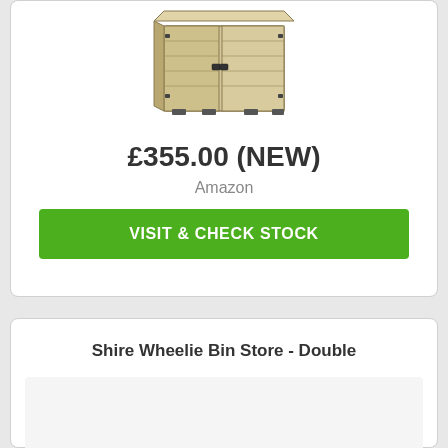[Figure (photo): Wooden double wheelie bin store enclosure with latch handles, viewed from a slight angle showing front and side panels]
£355.00 (NEW)
Amazon
VISIT & CHECK STOCK
Shire Wheelie Bin Store - Double